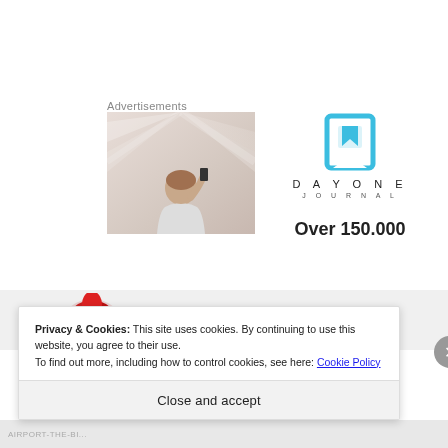Advertisements
[Figure (photo): Person photographing toward sky with back turned]
[Figure (logo): Day One Journal logo — blue bookmark icon, DAYONE wordmark, JOURNAL subtext, Over 150.000]
Over 150.000
Dave from
Privacy & Cookies: This site uses cookies. By continuing to use this website, you agree to their use.
To find out more, including how to control cookies, see here: Cookie Policy
Close and accept